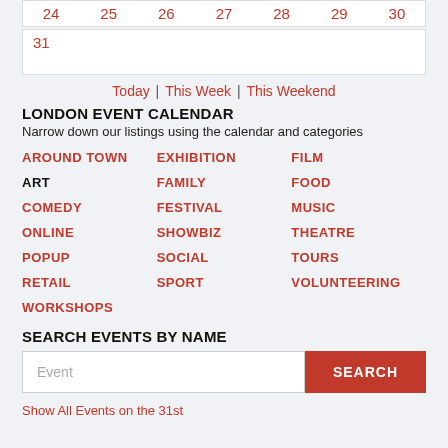| 24 | 25 | 26 | 27 | 28 | 29 | 30 |
| --- | --- | --- | --- | --- | --- | --- |
| 31 |
Today | This Week | This Weekend
LONDON EVENT CALENDAR
Narrow down our listings using the calendar and categories
AROUND TOWN
EXHIBITION
FILM
ART
FAMILY
FOOD
COMEDY
FESTIVAL
MUSIC
ONLINE
SHOWBIZ
THEATRE
POPUP
SOCIAL
TOURS
RETAIL
SPORT
VOLUNTEERING
WORKSHOPS
SEARCH EVENTS BY NAME
Event [search box] SEARCH
Show All Events on the 31st